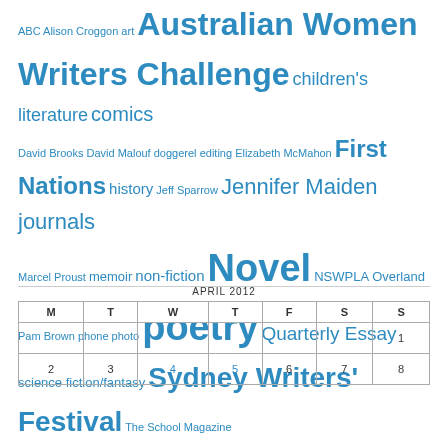[Figure (other): Tag cloud with terms in varying font sizes, all in blue: ABC, Alison Croggon, art, Australian Women Writers Challenge, children's literature, comics, David Brooks, David Malouf, doggerel, editing, Elizabeth McMahon, First Nations, history, Jeff Sparrow, Jennifer Maiden, journals, Marcel Proust, memoir, non-fiction, Novel, NSWPLA, Overland, Pam Brown, phone, photo, poetry, Quarterly Essay, science fiction/fantasy, Sydney Writers' Festival, The School Magazine, translation]
| M | T | W | T | F | S | S |
| --- | --- | --- | --- | --- | --- | --- |
|  |  |  |  |  |  | 1 |
| 2 | 3 | 4 | 5 | 6 | 7 | 8 |